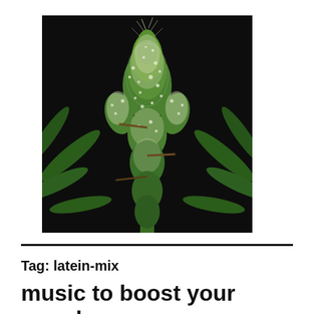[Figure (photo): Cannabis plant with dense, white-trichome-covered buds and green leaves against a dark black background]
Tag: latein-mix
music to boost your mood